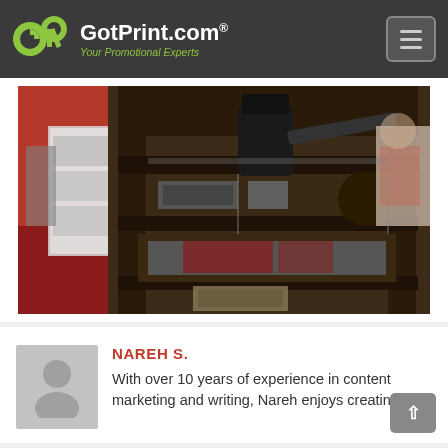GotPrint.com® — Your Promotional Experts
[Figure (photo): Photograph of a historical printing press machine displayed at an exhibition, with red carpet flooring and display cases visible in the background.]
NAREH S.
With over 10 years of experience in content marketing and writing, Nareh enjoys creating